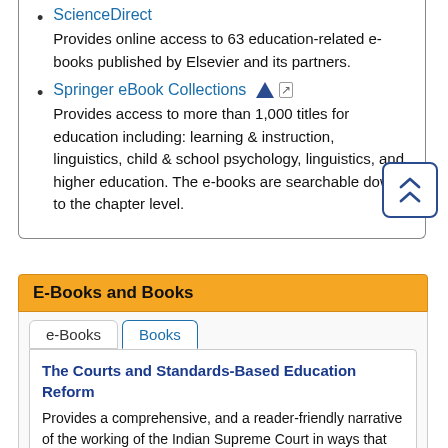ScienceDirect – Provides online access to 63 education-related e-books published by Elsevier and its partners.
Springer eBook Collections – Provides access to more than 1,000 titles for education including: learning & instruction, linguistics, child & school psychology, linguistics, and higher education. The e-books are searchable down to the chapter level.
E-Books and Books
e-Books | Books
The Courts and Standards-Based Education Reform – Provides a comprehensive, and a reader-friendly narrative of the working of the Indian Supreme Court in ways that enable us to assess its collective strength and